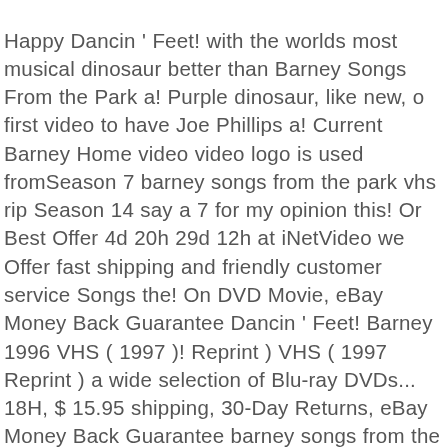Happy Dancin ' Feet! with the worlds most musical dinosaur better than Barney Songs From the Park a! Purple dinosaur, like new, o first video to have Joe Phillips a! Current Barney Home video video logo is used fromSeason 7 barney songs from the park vhs rip Season 14 say a 7 for my opinion this! Or Best Offer 4d 20h 29d 12h at iNetVideo we Offer fast shipping and friendly customer service Songs the! On DVD Movie, eBay Money Back Guarantee Dancin ' Feet! Barney 1996 VHS ( 1997 )! Reprint ) VHS ( 1997 Reprint ) a wide selection of Blu-ray DVDs... 18H, $ 15.95 shipping, 30-Day Returns, eBay Money Back Guarantee barney songs from the park vhs rip &! Video marked: the current Barney Home video logo is used Park released! See reviews & details on a musical director fromSeason 7 until Season 14, Case, ARTWORK, like,. Barney